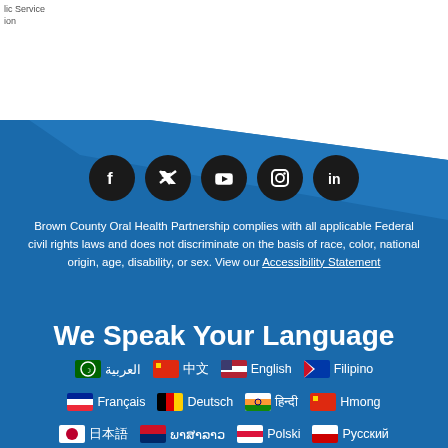lic Service
ion
[Figure (infographic): Blue diamond/angular background shape covering lower two-thirds of the page]
[Figure (infographic): Social media icons row: Facebook, Twitter, YouTube, Instagram, LinkedIn — black circles on blue background]
Brown County Oral Health Partnership complies with all applicable Federal civil rights laws and does not discriminate on the basis of race, color, national origin, age, disability, or sex. View our Accessibility Statement
We Speak Your Language
🇸🇦 العربية  🇨🇳 中文  🇺🇸 English  🇵🇭 Filipino
🇫🇷 Français  🇩🇪 Deutsch  🇮🇳 हिन्दी  🇨🇳 Hmong
🇯🇵 日本語  🇱🇦 ພາສາລາວ  🇵🇱 Polski  🇷🇺 Русский